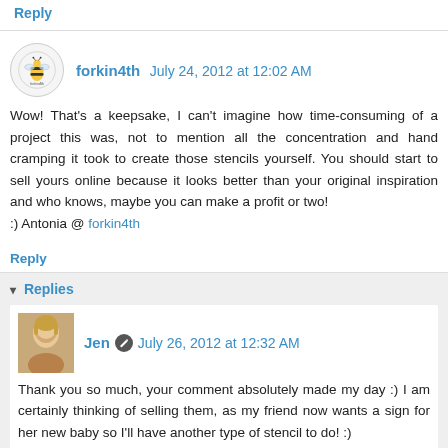Reply
forkin4th  July 24, 2012 at 12:02 AM
Wow! That's a keepsake, I can't imagine how time-consuming of a project this was, not to mention all the concentration and hand cramping it took to create those stencils yourself. You should start to sell yours online because it looks better than your original inspiration and who knows, maybe you can make a profit or two!
:) Antonia @ forkin4th
Reply
Replies
Jen  July 26, 2012 at 12:32 AM
Thank you so much, your comment absolutely made my day :) I am certainly thinking of selling them, as my friend now wants a sign for her new baby so I'll have another type of stencil to do! :)
Thanks for visiting, I just want to your site and